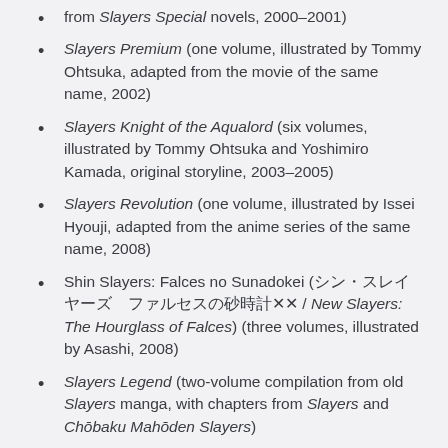from Slayers Special novels, 2000–2001)
Slayers Premium (one volume, illustrated by Tommy Ohtsuka, adapted from the movie of the same name, 2002)
Slayers Knight of the Aqualord (six volumes, illustrated by Tommy Ohtsuka and Yoshimiro Kamada, original storyline, 2003–2005)
Slayers Revolution (one volume, illustrated by Issei Hyouji, adapted from the anime series of the same name, 2008)
Shin Slayers: Falces no Sunadokei (シン・スレイヤーズ　ファルセスの砂時計 / New Slayers: The Hourglass of Falces) (three volumes, illustrated by Asashi, 2008)
Slayers Legend (two-volume compilation from old Slayers manga, with chapters from Slayers and Chōbaku Mahōden Slayers)
Slayers Evolution-R (one volume, published in Monthly Dragon Age, illustrated by Issei Hyouji, adapted from the anime series of the same name